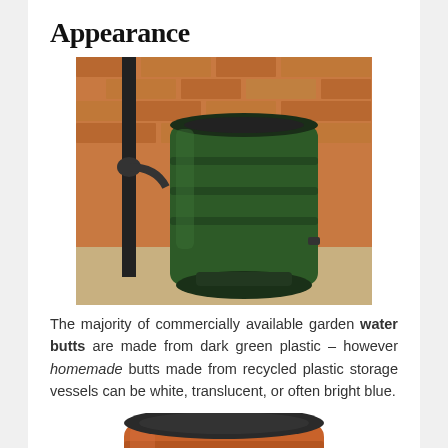Appearance
[Figure (photo): A dark green plastic garden water butt on a raised base, connected to a downpipe, positioned against a red brick wall.]
The majority of commercially available garden water butts are made from dark green plastic – however homemade butts made from recycled plastic storage vessels can be white, translucent, or often bright blue.
[Figure (photo): A terracotta-colored ribbed garden water butt with a dark lid, partially visible at the bottom of the page.]